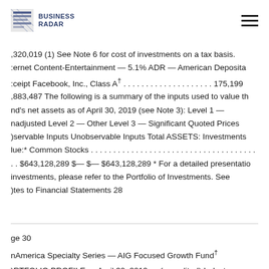BUSINESS RADAR
,320,019 (1) See Note 6 for cost of investments on a tax basis. :ernet Content-Entertainment — 5.1% ADR — American Deposita :ceipt Facebook, Inc., Class A† . . . . . . . . . . . . . . . . . . . . 175,199 ,883,487 The following is a summary of the inputs used to value th nd's net assets as of April 30, 2019 (see Note 3): Level 1 — nadjusted Level 2 — Other Level 3 — Significant Quoted Prices )servable Inputs Unobservable Inputs Total ASSETS: Investments lue:* Common Stocks . . . . . . . . . . . . . . . . . . . . . . . . . . . . . . . . . . . . . . . . . $643,128,289 $— $— $643,128,289 * For a detailed presentatio investments, please refer to the Portfolio of Investments. See )tes to Financial Statements 28
ge 30 nAmerica Specialty Series — AIG Focused Growth Fund† )RTFOLIO PROFILE — April 30, 2019 — (unaudited) Industry )ocation* E-Commerce/Products